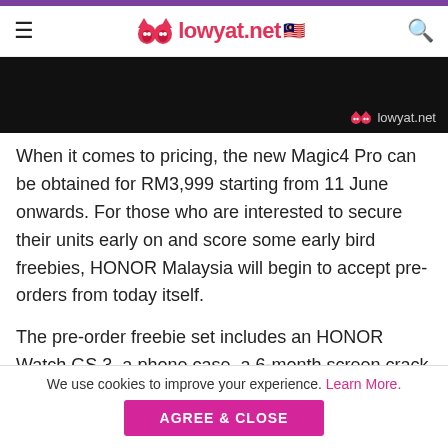lowyat.net
[Figure (screenshot): Dark hero image with lowyat.net watermark in bottom right]
When it comes to pricing, the new Magic4 Pro can be obtained for RM3,999 starting from 11 June onwards. For those who are interested to secure their units early on and score some early bird freebies, HONOR Malaysia will begin to accept pre-orders from today itself.
The pre-order freebie set includes an HONOR Watch GS 3, a phone case, a 6-month screen crack protection program, and a 1-year of extended warranty. Consumers can choose to pre-order the new Magic4 Pro from HONOR Malaysia's
We use cookies to improve your experience. Learn More.
AGREE & CLOSE